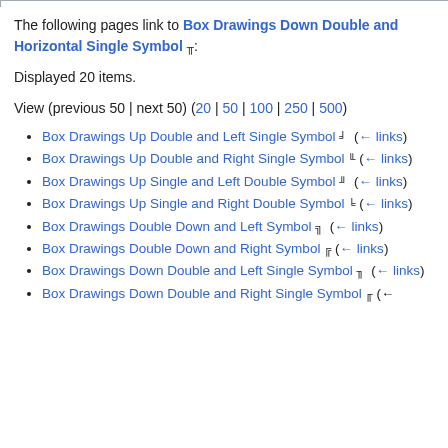The following pages link to Box Drawings Down Double and Horizontal Single Symbol ╥:
Displayed 20 items.
View (previous 50 | next 50) (20 | 50 | 100 | 250 | 500)
Box Drawings Up Double and Left Single Symbol ╛  (← links)
Box Drawings Up Double and Right Single Symbol ╙  (← links)
Box Drawings Up Single and Left Double Symbol ╜  (← links)
Box Drawings Up Single and Right Double Symbol ╘  (← links)
Box Drawings Double Down and Left Symbol ╗  (← links)
Box Drawings Double Down and Right Symbol ╔  (← links)
Box Drawings Down Double and Left Single Symbol ╖  (← links)
Box Drawings Down Double and Right Single Symbol ╓  (←